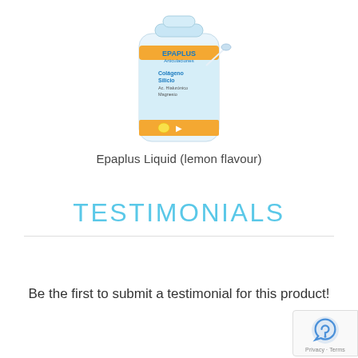[Figure (photo): Epaplus Articulaciones supplement container (liquid form) with blue and white label, lemon flavour, shown from above/front angle against white background.]
Epaplus Liquid (lemon flavour)
TESTIMONIALS
Be the first to submit a testimonial for this product!